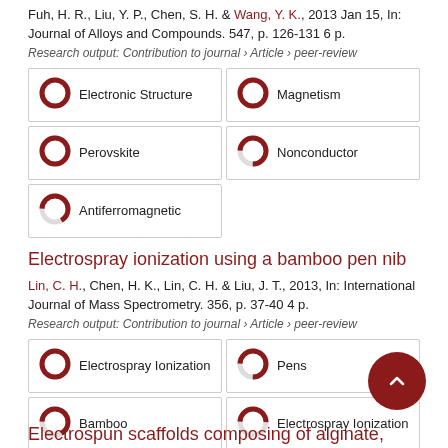Fuh, H. R., Liu, Y. P., Chen, S. H. & Wang, Y. K., 2013 Jan 15, In: Journal of Alloys and Compounds. 547, p. 126-131 6 p.
Research output: Contribution to journal › Article › peer-review
[Figure (infographic): Keyword badges with donut/pie indicators: Electronic Structure (100%), Magnetism (100%), Perovskite (100%), Nonconductor (75%), Antiferromagnetic (67%)]
Electrospray ionization using a bamboo pen nib
Lin, C. H., Chen, H. K., Lin, C. H. & Liu, J. T., 2013, In: International Journal of Mass Spectrometry. 356, p. 37-40 4 p.
Research output: Contribution to journal › Article › peer-review
[Figure (infographic): Keyword badges with donut/pie indicators: Electrospray Ionization (100%), Pens (75%), Bamboo (67%), Electrospray Ionization (50%), Ionization (42%)]
Electrospun scaffolds composing of alginate,